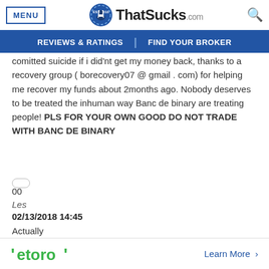ThatSucks.com — REVIEWS & RATINGS | FIND YOUR BROKER
comitted suicide if i did'nt get my money back, thanks to a recovery group ( borecovery07 @ gmail . com) for helping me recover my funds about 2months ago. Nobody deserves to be treated the inhuman way Banc de binary are treating people! PLS FOR YOUR OWN GOOD DO NOT TRADE WITH BANC DE BINARY
00
Les
02/13/2018 14:45
Actually
Actually, BOTS DOES have an indication that Banc De
[Figure (logo): eToro logo with green color and stylized arrow marks on left and right of the text]